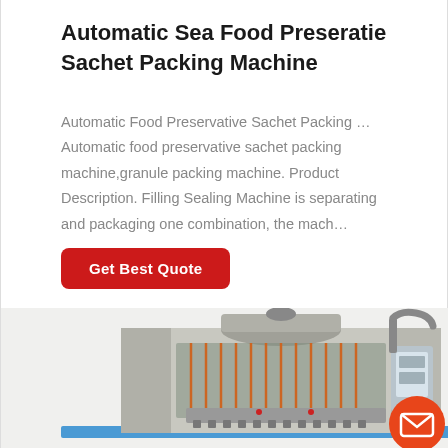Automatic Sea Food Preseratie Sachet Packing Machine
Automatic Food Preservative Sachet Packing … Automatic food preservative sachet packing machine,granule packing machine. Product Description. Filling Sealing Machine is separating and packaging one combination, the mach…
Get Best Quote
[Figure (photo): Industrial automatic sea food preservative sachet packing machine, stainless steel body with multiple filling nozzles and control panel on the right side.]